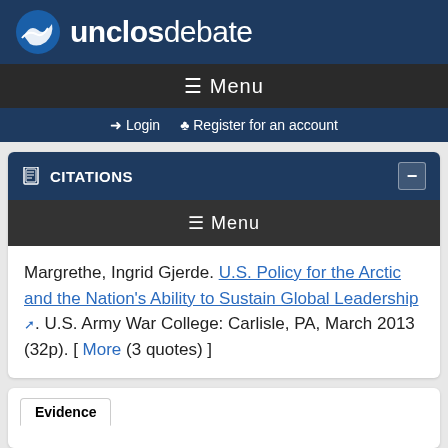unclosdebate
≡ Menu
→ Login   ♣ Register for an account
CITATIONS
≡ Menu
Margrethe, Ingrid Gjerde. U.S. Policy for the Arctic and the Nation's Ability to Sustain Global Leadership. U.S. Army War College: Carlisle, PA, March 2013 (32p). [ More (3 quotes) ]
Evidence